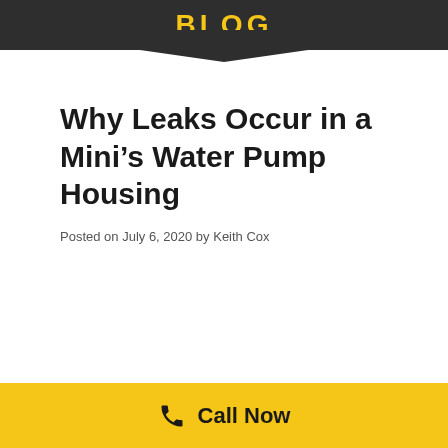BLOG
Why Leaks Occur in a Mini’s Water Pump Housing
Posted on July 6, 2020 by Keith Cox
Call Now